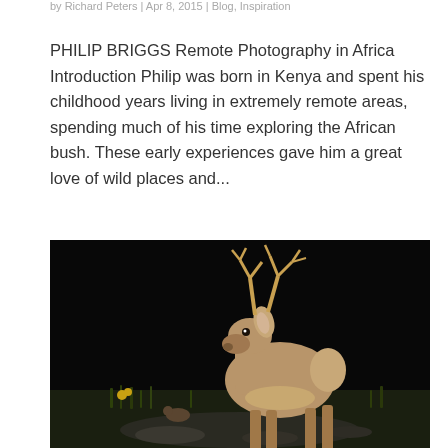by Richard Peters | Apr 8, 2015 | Blog, Inspiration
PHILIP BRIGGS Remote Photography in Africa Introduction Philip was born in Kenya and spent his childhood years living in extremely remote areas, spending much of his time exploring the African bush. These early experiences gave him a great love of wild places and...
[Figure (photo): Night camera-trap photo of a white-tailed buck deer standing on rocky ground with grass and yellow wildflowers, against a dark background.]